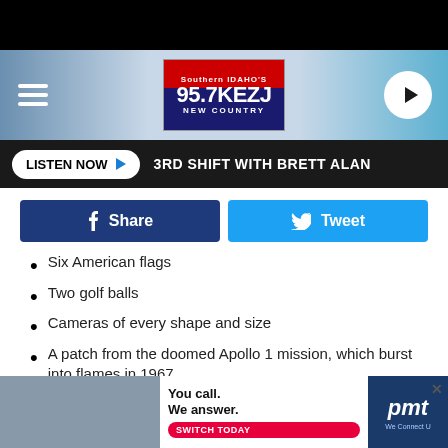[Figure (screenshot): 95.7 KEZJ Southern Idaho's New Country radio station logo in red and blue]
LISTEN NOW ▶  3RD SHIFT WITH BRETT ALAN
[Figure (infographic): Facebook Share button and Twitter Tweet button]
Six American flags
Two golf balls
Cameras of every shape and size
A patch from the doomed Apollo 1 mission, which burst into flames in 1967
Medals commemorating two Russian cosmonauts, Vladimir Komarov and Yuri Gagarin
A falcon's feather used in a science experiment
A pair of boots
[Figure (photo): PMT advertisement: You call. We answer. Switch Today. We Connect U.]